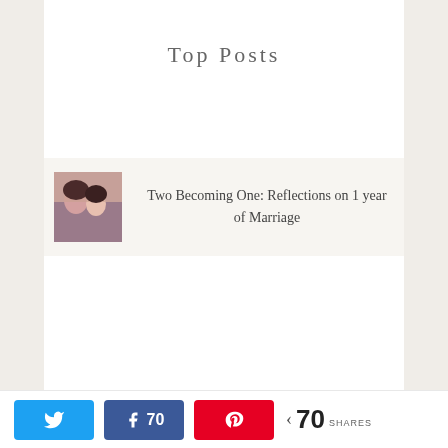Top Posts
Two Becoming One: Reflections on 1 year of Marriage
[Figure (photo): Small thumbnail photo of a couple]
[Figure (photo): Aerial city panorama photo with blue sky and clouds — Funded - February 16, 2020]
Andrea Donaldson's
70  SHARES